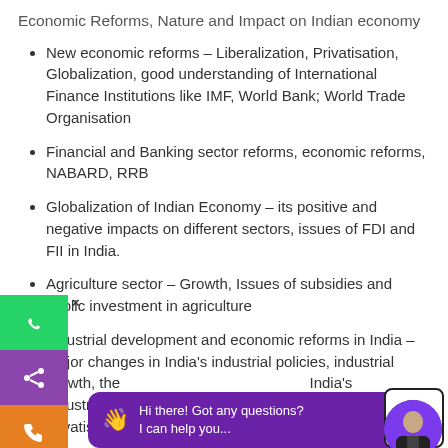Economic Reforms, Nature and Impact on Indian economy
New economic reforms – Liberalization, Privatisation, Globalization, good understanding of International Finance Institutions like IMF, World Bank; World Trade Organisation
Financial and Banking sector reforms, economic reforms, NABARD, RRB
Globalization of Indian Economy – its positive and negative impacts on different sectors, issues of FDI and FII in India.
Agriculture sector – Growth, Issues of subsidies and public investment in agriculture
Industrial development and economic reforms in India – major changes in India's industrial policies, industrial growth, the process of industrialisation, India's industrialisation in post reforms period, disinvestment and privatisation of public enterprises.
The economy of Jharkhand – features, issues, challenges and strategies